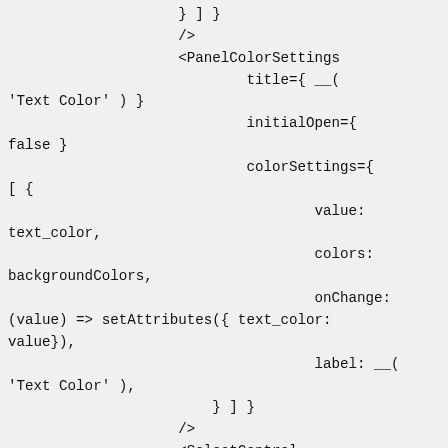} ] }
                    />
                    <PanelColorSettings
                            title={ __(
'Text Color' ) }
                            initialOpen={
false }
                            colorSettings={
[ {
                                    value:
text_color,
                                    colors:
backgroundColors,
                                    onChange:
(value) => setAttributes({ text_color:
value}),
                                    label: __(
'Text Color' ),
                        } ] }
                    />
                    <SelectControl
                            label={ __(
'Alignment' ) }
                            description={
( 'Left or right align the cite name